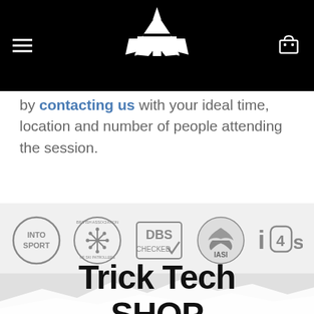Trick Tech header with logo, hamburger menu, and cart icon
by contacting us with your ideal time, location and number of people attending the session.
[Figure (logo): Row of certification logos: INTO SPORT (circle), British Association of Ski Patrollers (circle with snowflake), DBS CHECKED (rectangle with checkmark), IASI (circle with eagle), i4s (text logo)]
Trick Tech SHOP